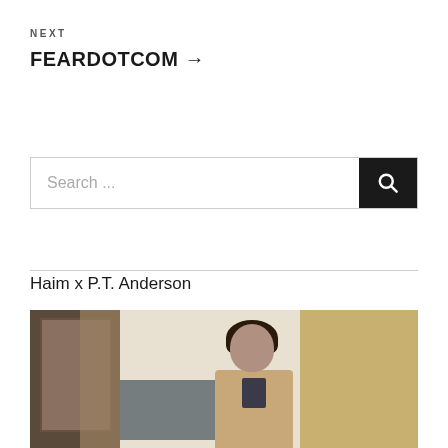NEXT
FEARDOTCOM →
Search ...
Haim x P.T. Anderson
[Figure (photo): A young woman with dark hair wearing a beige coat and dark bow tie, standing in front of a wall with a blackboard and framed picture visible in the background.]